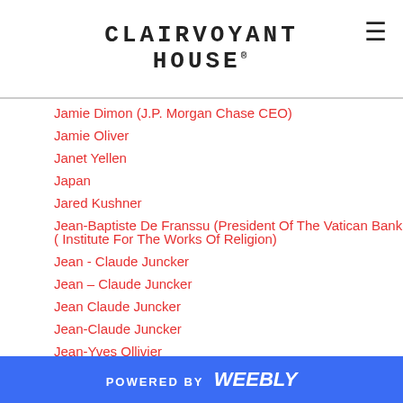CLAIRVOYANT HOUSE
Jamie Dimon (J.P. Morgan Chase CEO)
Jamie Oliver
Janet Yellen
Japan
Jared Kushner
Jean-Baptiste De Franssu (President Of The Vatican Bank ( Institute For The Works Of Religion)
Jean - Claude Juncker
Jean – Claude Juncker
Jean Claude Juncker
Jean-Claude Juncker
Jean-Yves Ollivier
Jeb Bush
Jeff Bezos
Jeff Bezos (The Owner Of Amazon)
POWERED BY weebly